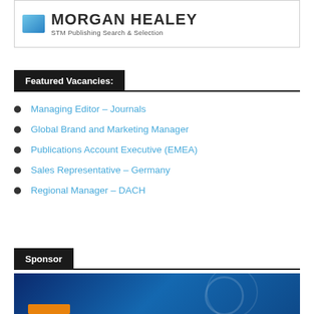[Figure (logo): Morgan Healey STM Publishing Search & Selection logo with blue square icon]
Featured Vacancies:
Managing Editor – Journals
Global Brand and Marketing Manager
Publications Account Executive (EMEA)
Sales Representative – Germany
Regional Manager – DACH
Sponsor
[Figure (photo): Blue-toned sponsor banner image with circular light patterns]